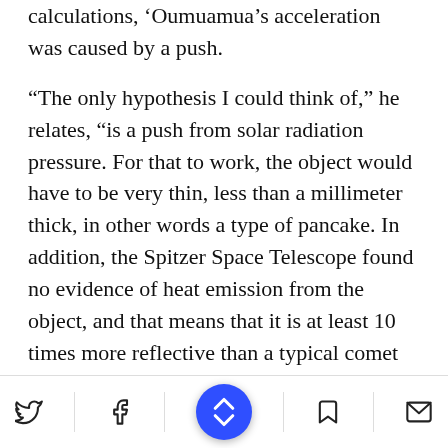calculations, 'Oumuamua's acceleration was caused by a push.
“The only hypothesis I could think of,” he relates, “is a push from solar radiation pressure. For that to work, the object would have to be very thin, less than a millimeter thick, in other words a type of pancake. In addition, the Spitzer Space Telescope found no evidence of heat emission from the object, and that means that it is at least 10 times more reflective than a typical comet or asteroid. What we have, then, is a thin, flat, shiny object. So I arrived at the idea of a solar sail: A solar sail is a spaceship that uses the
Twitter | Facebook | Bookmark | Email